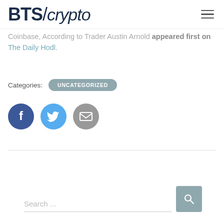BTS/crypto
Coinbase, According to Trader Austin Arnold appeared first on The Daily Hodl.
Categories: UNCATEGORIZED
[Figure (infographic): Three social share icon circles: Facebook (dark blue), Twitter (light blue), Email/envelope (grey)]
[Figure (infographic): Search bar with placeholder text 'Search ...' and a teal/grey search button with magnifying glass icon]